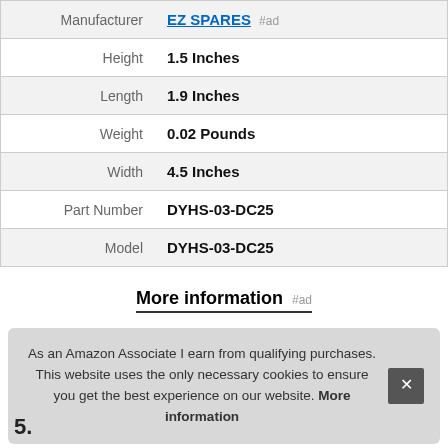| Attribute | Value |
| --- | --- |
| Manufacturer | EZ SPARES #ad |
| Height | 1.5 Inches |
| Length | 1.9 Inches |
| Weight | 0.02 Pounds |
| Width | 4.5 Inches |
| Part Number | DYHS-03-DC25 |
| Model | DYHS-03-DC25 |
More information #ad
As an Amazon Associate I earn from qualifying purchases. This website uses the only necessary cookies to ensure you get the best experience on our website. More information
5.